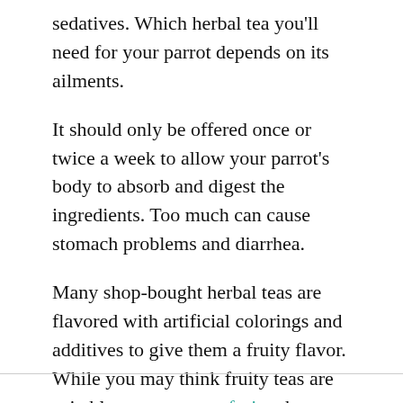sedatives. Which herbal tea you'll need for your parrot depends on its ailments.
It should only be offered once or twice a week to allow your parrot's body to absorb and digest the ingredients. Too much can cause stomach problems and diarrhea.
Many shop-bought herbal teas are flavored with artificial colorings and additives to give them a fruity flavor. While you may think fruity teas are suitable as parrots eat fruits, the flavorings are sometimes unhealthy.